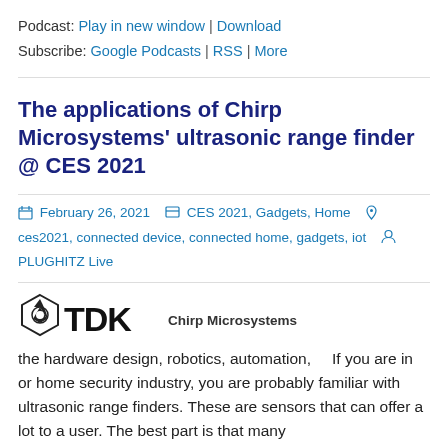Podcast: Play in new window | Download
Subscribe: Google Podcasts | RSS | More
The applications of Chirp Microsystems' ultrasonic range finder @ CES 2021
February 26, 2021  CES 2021, Gadgets, Home  ces2021, connected device, connected home, gadgets, iot  PLUGHITZ Live
[Figure (logo): TDK Chirp Microsystems logo]
If you are in the hardware design, robotics, automation, or home security industry, you are probably familiar with ultrasonic range finders. These are sensors that can offer a lot to a user. The best part is that many